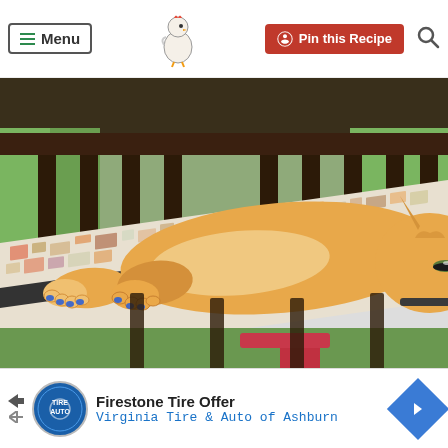Menu | Pin this Recipe | Search
[Figure (photo): An orange tabby cat lying stretched out on a mosaic-tiled outdoor table, with metal railings and green grass in the background. The cat has blue nail caps on its claws and appears relaxed.]
Firestone Tire Offer
Virginia Tire & Auto of Ashburn